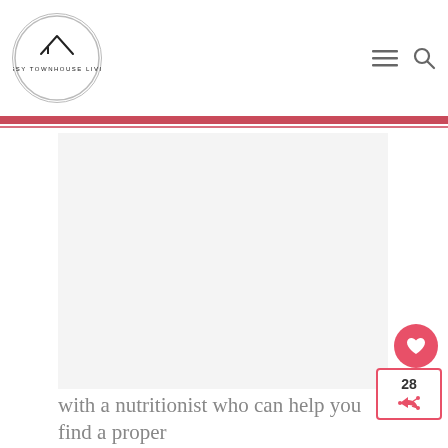SASSY TOWNHOUSE LIVING
[Figure (photo): Large rectangular image placeholder (white/light gray) showing a blog post image area on the Sassy Townhouse Living website]
However, you should always consult with a nutritionist who can help you find a proper...